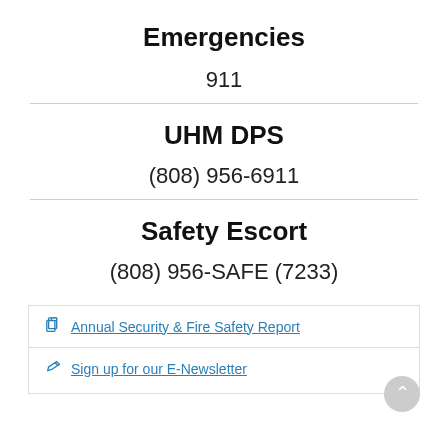Emergencies
911
UHM DPS
(808) 956-6911
Safety Escort
(808) 956-SAFE (7233)
Annual Security & Fire Safety Report
Sign up for our E-Newsletter